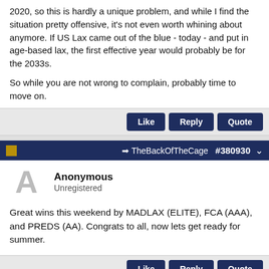2020, so this is hardly a unique problem, and while I find the situation pretty offensive, it's not even worth whining about anymore. If US Lax came out of the blue - today - and put in age-based lax, the first effective year would probably be for the 2033s.

So while you are not wrong to complain, probably time to move on.
TheBackOfTheCage #380930
Anonymous
Unregistered
Great wins this weekend by MADLAX (ELITE), FCA (AAA), and PREDS (AA). Congrats to all, now lets get ready for summer.
[Figure (infographic): Quicken advertisement banner: Take Control of Your Finances. Plan for today and tomorrow with one solution to manage all your finances. Image of woman at laptop with a donut chart. BUY NOW button.]